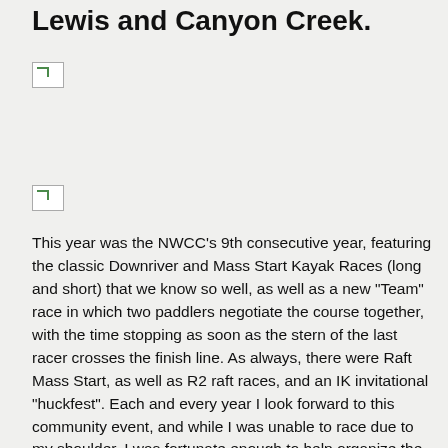Lewis and Canyon Creek.
[Figure (photo): Broken/missing image placeholder (top)]
[Figure (photo): Broken/missing image placeholder (middle)]
This year was the NWCC's 9th consecutive year, featuring the classic Downriver and Mass Start Kayak Races (long and short) that we know so well, as well as a new "Team" race in which two paddlers negotiate the course together, with the time stopping as soon as the stern of the last racer crosses the finish line. As always, there were Raft Mass Start, as well as R2 raft races, and an IK invitational "huckfest". Each and every year I look forward to this community event, and while I was unable to race due to my shoulder, I was fortunate enough to help organize the event and hand out some fancy awards.
[Figure (photo): Broken/missing image placeholder (bottom)]
This year we had over 150 racers on each course, a new record